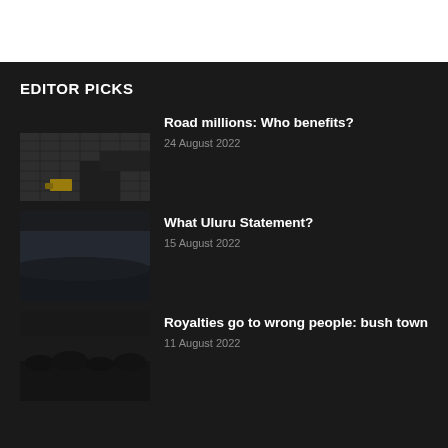EDITOR PICKS
[Figure (photo): Dark overhead view of construction/road materials with yellow machinery]
Road millions: Who benefits?
24 August 2022
[Figure (photo): Dark landscape/terrain photo]
What Uluru Statement?
15 August 2022
[Figure (photo): Dark bush/landscape photo]
Royalties go to wrong people: bush town
11 August 2022